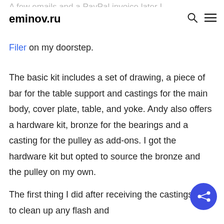eminov.ru
A few emails and a PayPal invoice later I had a set of castings for the MLA-18 Die Filer on my doorstep.
The basic kit includes a set of drawing, a piece of bar for the table support and castings for the main body, cover plate, table, and yoke. Andy also offers a hardware kit, bronze for the bearings and a casting for the pulley as add-ons. I got the hardware kit but opted to source the bronze and the pulley on my own.
The first thing I did after receiving the castings was to clean up any flash and